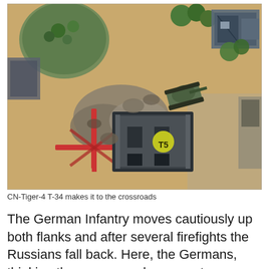[Figure (photo): A tabletop wargame scene showing miniature military models on a sandy terrain board. A T-34 tank model is positioned near a building/bunker model with a yellow circular marker labeled 'T5'. There are trees, rocks, obstacles including red metal barriers, another tank, and ruined buildings visible. The scene appears to be a WWII wargame setup.]
CN-Tiger-4 T-34 makes it to the crossroads
The German Infantry moves cautiously up both flanks and after several firefights the Russians fall back. Here, the Germans, thinking they are very cleaver, get one platoon with a CC around the right and